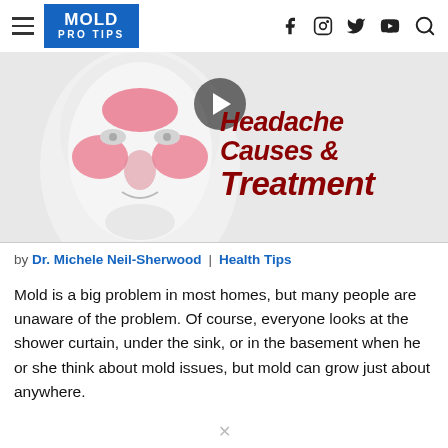MOLD PRO TIPS
[Figure (illustration): Medical illustration of a human face/head showing sinus areas highlighted in pink/red, overlaid with large dark red italic bold text reading 'Headache Causes & Treatment' and a video play button circle]
by Dr. Michele Neil-Sherwood | Health Tips
Mold is a big problem in most homes, but many people are unaware of the problem. Of course, everyone looks at the shower curtain, under the sink, or in the basement when he or she think about mold issues, but mold can grow just about anywhere.